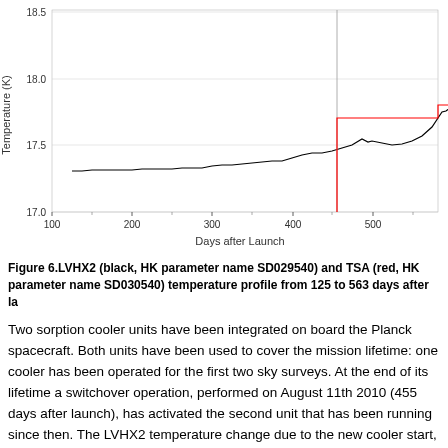[Figure (continuous-plot): Line chart showing LVHX2 temperature (black line) and TSA temperature (red line) vs Days after Launch, from ~125 to ~563 days. Black line rises from ~17.3K to ~18.2K then drops sharply at day 455 to ~17.0K, then rises slightly. Red step line appears at day ~455 jumping from ~17.2 to ~18.2K then stepping up to ~18.3K.]
Figure 6.LVHX2 (black, HK parameter name SD029540) and TSA (red, HK parameter name SD030540) temperature profile from 125 to 563 days after la
Two sorption cooler units have been integrated on board the Planck spacecraft. Both units have been used to cover the mission lifetime: one cooler has been operated for the first two sky surveys. At the end of its lifetime a switchover operation, performed on August 11th 2010 (455 days after launch), has activated the second unit that has been running since then. The LVHX2 temperature change due to the new cooler start, and the subsequent re-adjustment of the LFI temperature stabilization stage, is clear in Fig. 6.